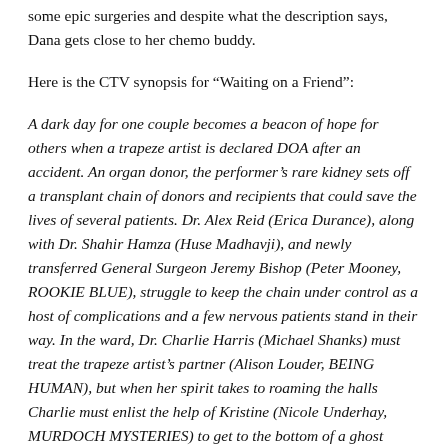some epic surgeries and despite what the description says, Dana gets close to her chemo buddy.
Here is the CTV synopsis for "Waiting on a Friend":
A dark day for one couple becomes a beacon of hope for others when a trapeze artist is declared DOA after an accident. An organ donor, the performer's rare kidney sets off a transplant chain of donors and recipients that could save the lives of several patients. Dr. Alex Reid (Erica Durance), along with Dr. Shahir Hamza (Huse Madhavji), and newly transferred General Surgeon Jeremy Bishop (Peter Mooney, ROOKIE BLUE), struggle to keep the chain under control as a host of complications and a few nervous patients stand in their way. In the ward, Dr. Charlie Harris (Michael Shanks) must treat the trapeze artist's partner (Alison Louder, BEING HUMAN), but when her spirit takes to roaming the halls Charlie must enlist the help of Kristine (Nicole Underhay, MURDOCH MYSTERIES) to get to the bottom of a ghost unlike any he's seen before. Meanwhile, Dr. Dana Kinney